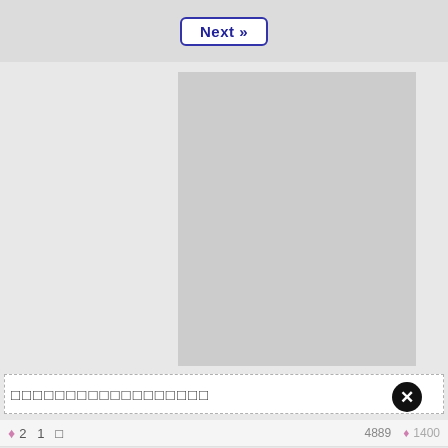[Figure (screenshot): Navigation bar with Next button at top]
[Figure (screenshot): Large gray placeholder image area]
□□□□□□□□□□□□□□□□□□
♦ 2  1 □  4889  ♦  1400
♦ 2  1□□  3163  ♦  1449
♦ 3D  983  ♦  □  □□□